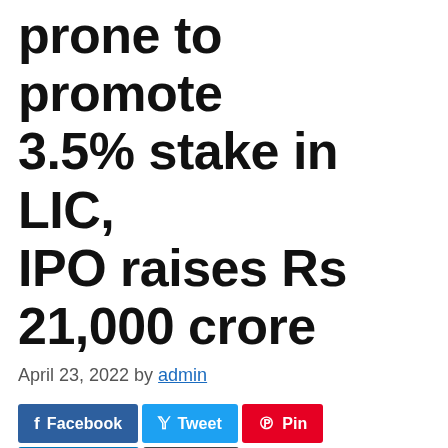…prone to promote 3.5% stake in LIC, IPO raises Rs 21,000 crore
April 23, 2022 by admin
[Figure (infographic): Social share buttons: Facebook, Tweet, Pin, LinkedIn, Email]
The federal government is prone to promote 3.5% stake in LIC and LIC…